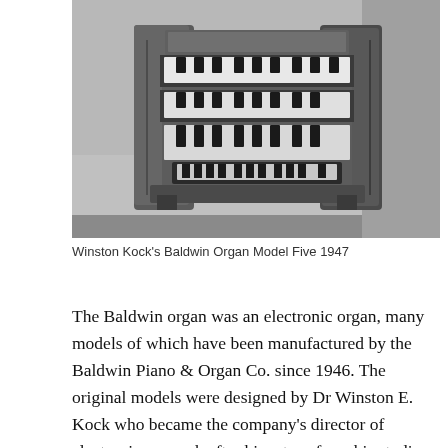[Figure (photo): Black and white photograph of Winston Kock's Baldwin Organ Model Five from 1947. The organ console is shown from a front-angle view, featuring multiple tiered keyboards and large wooden side panels, set against a plain interior background.]
Winston Kock's Baldwin Organ Model Five 1947
The Baldwin organ was an electronic organ, many models of which have been manufactured by the Baldwin Piano & Organ Co. since 1946. The original models were designed by Dr Winston E. Kock who became the company's director of electronic research after his return from his studies at the Heinrich-Hertz-Institute, Berlin, in 1936. The organ was a development of Kock's Berlin research with the GrosstonOrgel using the same neon-gas discharge tubes to create a stable, affordable polyphonic instrument. The Baldwin Organ were